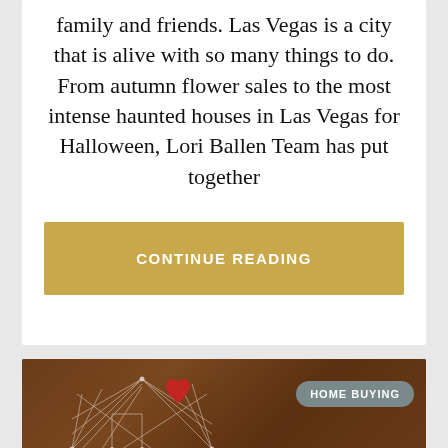family and friends. Las Vegas is a city that is alive with so many things to do. From autumn flower sales to the most intense haunted houses in Las Vegas for Halloween, Lori Ballen Team has put together
CONTINUE READING
[Figure (photo): Wooden table background with string art house decoration and a red heart. HOME BUYING badge visible in top right corner. Privacy & Cookies Policy bar at bottom.]